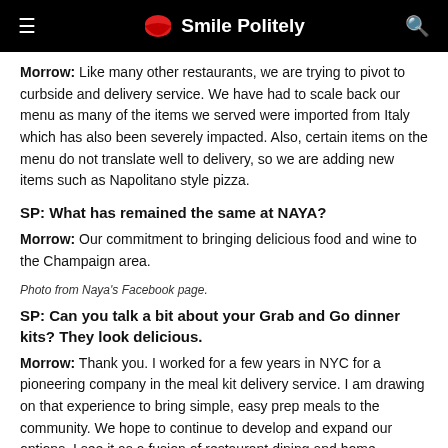Smile Politely
Morrow: Like many other restaurants, we are trying to pivot to curbside and delivery service. We have had to scale back our menu as many of the items we served were imported from Italy which has also been severely impacted. Also, certain items on the menu do not translate well to delivery, so we are adding new items such as Napolitano style pizza.
SP: What has remained the same at NAYA?
Morrow: Our commitment to bringing delicious food and wine to the Champaign area.
Photo from Naya's Facebook page.
SP: Can you talk a bit about your Grab and Go dinner kits? They look delicious.
Morrow: Thank you. I worked for a few years in NYC for a pioneering company in the meal kit delivery service. I am drawing on that experience to bring simple, easy prep meals to the community. We hope to continue to develop and expand our options. I see it as a fusion of restaurant dining and home cooking.